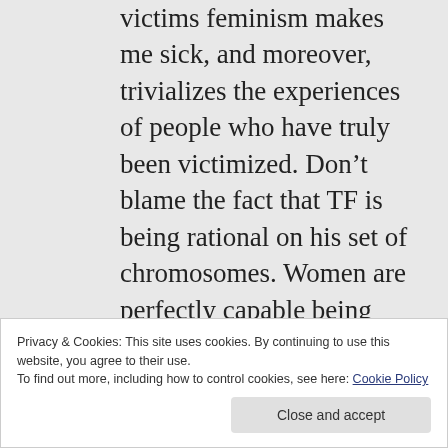victims feminism makes me sick, and moreover, trivializes the experiences of people who have truly been victimized. Don't blame the fact that TF is being rational on his set of chromosomes. Women are perfectly capable being rational, too. Remember — RW's histrionics are extremely profitable to her, and Roth needs this gig to sell her hideous “jewelry.” What a
Privacy & Cookies: This site uses cookies. By continuing to use this website, you agree to their use.
To find out more, including how to control cookies, see here: Cookie Policy